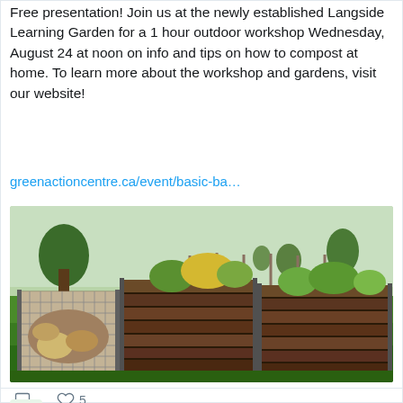Free presentation! Join us at the newly established Langside Learning Garden for a 1 hour outdoor workshop Wednesday, August 24 at noon on info and tips on how to compost at home. To learn more about the workshop and gardens, visit our website!
greenactioncentre.ca/event/basic-ba…
[Figure (photo): Outdoor photo of three wooden compost bins on grass with trees in background. Left bin has wire mesh front showing compost material, middle and right bins are wooden slat construction with plants growing in them.]
5
Green Action Centre